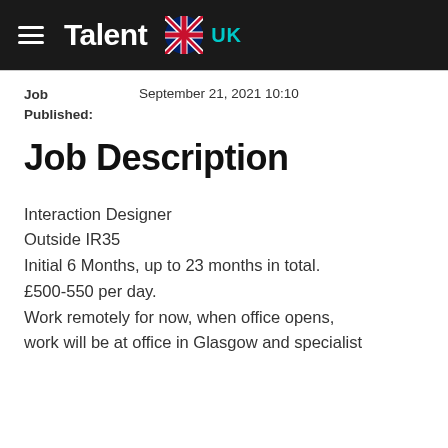Talent UK
Job Published: September 21, 2021 10:10
Job Description
Interaction Designer
Outside IR35
Initial 6 Months, up to 23 months in total.
£500-550 per day.
Work remotely for now, when office opens, work will be at office in Glasgow and specialist